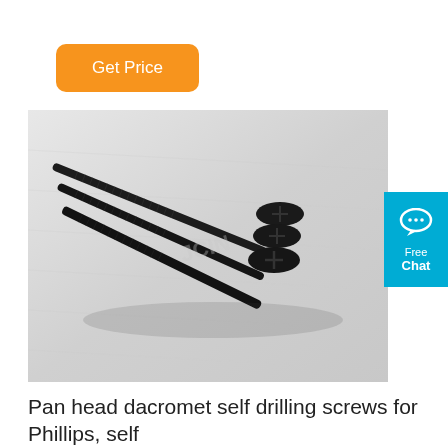Get Price
[Figure (photo): Three black drywall/self-drilling screws with Phillips head and fine thread, positioned diagonally on a light gray background. The screws appear to have a dacromet coating and flat countersunk heads.]
Free Chat
Pan head dacromet self drilling screws for Phillips, self